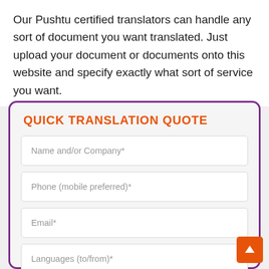Our Pushtu certified translators can handle any sort of document you want translated. Just upload your document or documents onto this website and specify exactly what sort of service you want.
QUICK TRANSLATION QUOTE
Name and/or Company*
Phone (mobile preferred)*
Email*
Languages (to/from)*